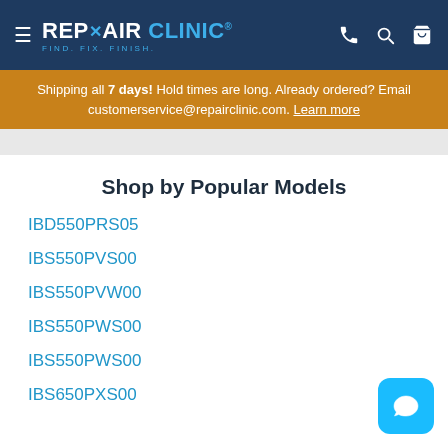REPAIR CLINIC — FIND. FIX. FINISH.
Shipping all 7 days! Hold times are long. Already ordered? Email customerservice@repairclinic.com. Learn more
Shop by Popular Models
IBD550PRS05
IBS550PVS00
IBS550PVW00
IBS550PWS00
IBS550PWS00
IBS650PXS00